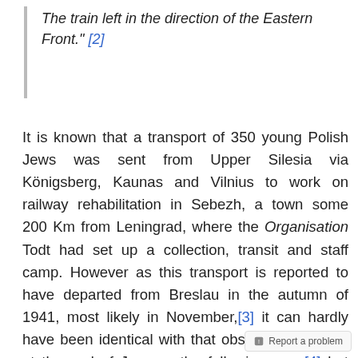The train left in the direction of the Eastern Front." [2]
It is known that a transport of 350 young Polish Jews was sent from Upper Silesia via Königsberg, Kaunas and Vilnius to work on railway rehabilitation in Sebezh, a town some 200 Km from Leningrad, where the Organisation Todt had set up a collection, transit and staff camp. However as this transport is reported to have departed from Breslau in the autumn of 1941, most likely in November,[3] it can hardly have been identical with that observed in Vilnius at the end of January the following year,[4] but could possibly have been a sort of pilot convoy. Historian Bella Gutermann writes...